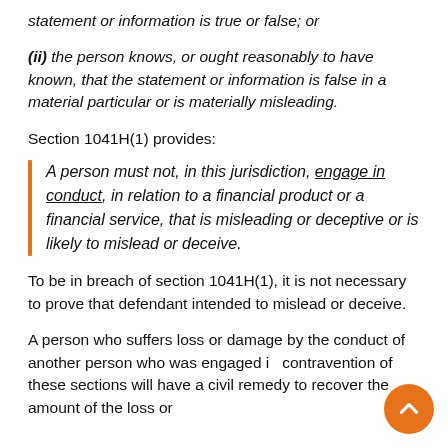statement or information is true or false; or
(ii) the person knows, or ought reasonably to have known, that the statement or information is false in a material particular or is materially misleading.
Section 1041H(1) provides:
A person must not, in this jurisdiction, engage in conduct, in relation to a financial product or a financial service, that is misleading or deceptive or is likely to mislead or deceive.
To be in breach of section 1041H(1), it is not necessary to prove that defendant intended to mislead or deceive.
A person who suffers loss or damage by the conduct of another person who was engaged in contravention of these sections will have a civil remedy to recover the amount of the loss or